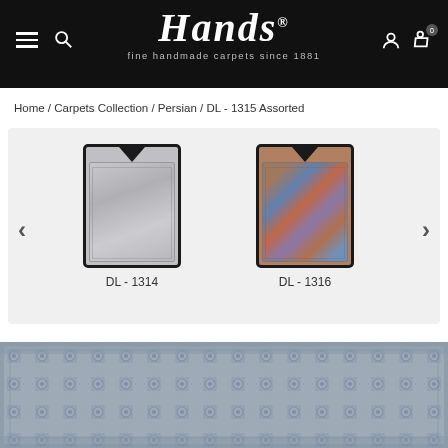Hands® — fine handmade carpets since 1881
Home / Carpets Collection / Persian / DL - 1315 Assorted
[Figure (screenshot): Carousel showing two carpet thumbnails: DL-1314 (light grey Persian carpet) on the left and DL-1316 (colorful Persian carpet) on the right, with left and right navigation arrows]
DL - 1314
DL - 1316
[Figure (photo): Bottom portion of a light blue/grey Persian carpet with intricate floral and geometric patterns]